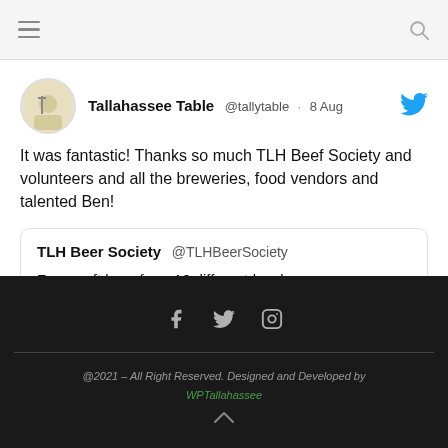Navigation bar with hamburger menu and search icon
Tallahassee Table @tallytable · 8 Aug
It was fantastic! Thanks so much TLH Beef Society and volunteers and all the breweries, food vendors and talented Ben!
TLH Beer Society @TLHBeerSociety
Free craft beer from 16 different local
@2021 – All Right Reserved. Designed and Developed by WPTallahassee